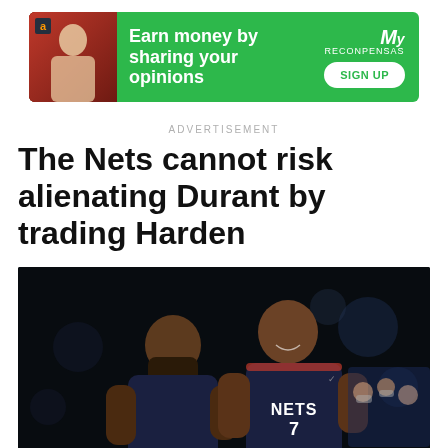[Figure (infographic): Green advertisement banner: 'Earn money by sharing your opinions' with Amazon logo, person image on left, MyReconpensas logo and SIGN UP button on right]
ADVERTISEMENT
The Nets cannot risk alienating Durant by trading Harden
[Figure (photo): Two Brooklyn Nets players in dark navy jerseys on a basketball court. The player on the right wears jersey number 7 and is smiling. The player on the left has a large beard. Background shows arena crowd with bokeh lighting.]